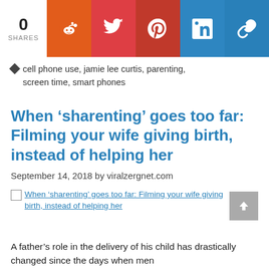[Figure (infographic): Social share bar with count 0 SHARES and icons for Reddit, Twitter, Pinterest, LinkedIn, and Link/Copy]
cell phone use, jamie lee curtis, parenting, screen time, smart phones
When ‘sharenting’ goes too far: Filming your wife giving birth, instead of helping her
September 14, 2018 by viralzergnet.com
[Figure (photo): Broken image placeholder for: When ‘sharenting’ goes too far: Filming your wife giving birth, instead of helping her]
A father’s role in the delivery of his child has drastically changed since the days when men